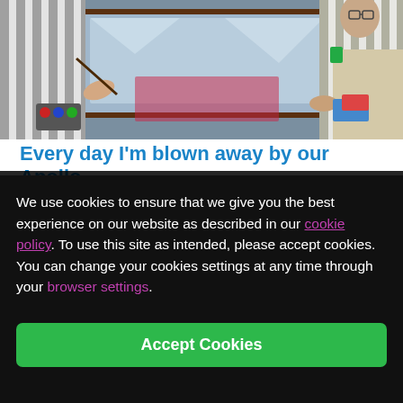[Figure (photo): Two or three people wearing striped aprons working on an art project on the floor, with shiny material and paint trays visible.]
Every day I'm blown away by our Apollo
We use cookies to ensure that we give you the best experience on our website as described in our cookie policy. To use this site as intended, please accept cookies. You can change your cookies settings at any time through your browser settings.
Accept Cookies